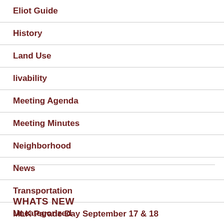Eliot Guide
History
Land Use
livability
Meeting Agenda
Meeting Minutes
Neighborhood
News
Transportation
Uncategorized
WHATS NEW
MLK Parade Day September 17 & 18